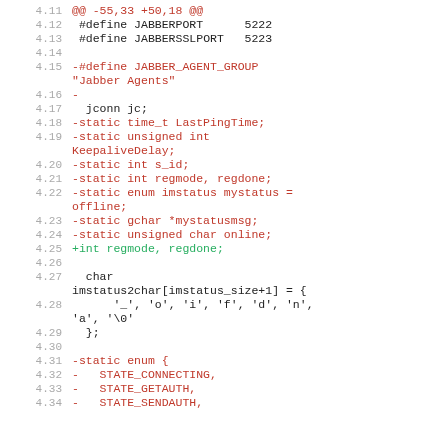[Figure (screenshot): Source code diff showing changes to a C file, with line numbers 4.11 through 4.34, displaying removed lines in red and added lines in green on a white background.]